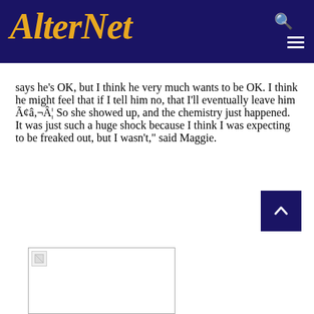AlterNet
says he's OK, but I think he very much wants to be OK. I think he might feel that if I tell him no, that I'll eventually leave him Ã¢â‚¬Â¦ So she showed up, and the chemistry just happened. It was just such a huge shock because I think I was expecting to be freaked out, but I wasn't," said Maggie.
[Figure (photo): Broken image placeholder in bottom left area]